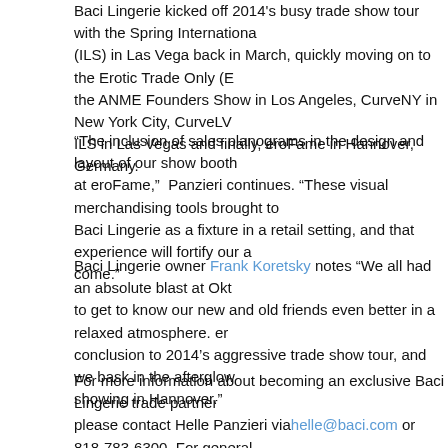Baci Lingerie kicked off 2014's busy trade show tour with the Spring International (ILS) in Las Vega back in March, quickly moving on to the Erotic Trade Only (E the ANME Founders Show in Los Angeles, CurveNY in New York City, CurveLV ILS in Las Vegas and finally, eroFame in Hannover, Germany.
“The inclusion of sales planograms in the design and layout of our show booth at eroFame,”  Panzieri continues. “These visual merchandising tools brought to Baci Lingerie as a fixture in a retail setting, and that experience will fortify our a come.”
Baci Lingerie owner Frank Koretsky notes “We all had an absolute blast at Okt to get to know our new and old friends even better in a relaxed atmosphere. er conclusion to 2014’s aggressive trade show tour, and we bask in the afterglow showing in Hannover.”
For more information about becoming an exclusive Baci Lingerie trade partner please contact Helle Panzieri via helle@baci.com or 818-783-6300. For general please email info@baci.com.
About Baci Lingerie
Baci Lingerie is the international lingerie and accessory brand on a mission to “ Deriving its name from the Italian word for "kisses," Baci's exquisite fabrics and every woman's evolving beauty and sensuality. Popular collections include Whi